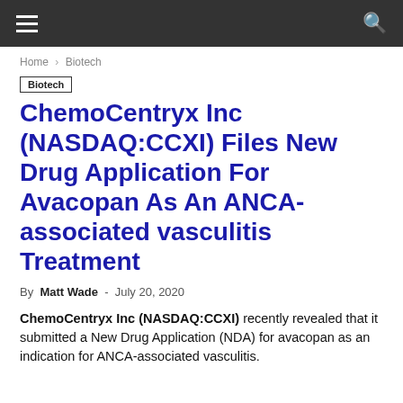≡  🔍
Home › Biotech
Biotech
ChemoCentryx Inc (NASDAQ:CCXI) Files New Drug Application For Avacopan As An ANCA-associated vasculitis Treatment
By Matt Wade - July 20, 2020
ChemoCentryx Inc (NASDAQ:CCXI) recently revealed that it submitted a New Drug Application (NDA) for avacopan as an indication for ANCA-associated vasculitis.